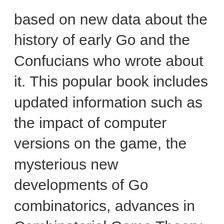based on new data about the history of early Go and the Confucians who wrote about it. This popular book includes updated information such as the impact of computer versions on the game, the mysterious new developments of Go combinatorics, advances in Combinatorial Game Theory and a look at the current international professional playing scene.
Download: